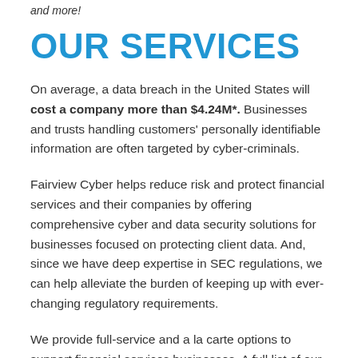and more!
OUR SERVICES
On average, a data breach in the United States will cost a company more than $4.24M*. Businesses and trusts handling customers' personally identifiable information are often targeted by cyber-criminals.
Fairview Cyber helps reduce risk and protect financial services and their companies by offering comprehensive cyber and data security solutions for businesses focused on protecting client data. And, since we have deep expertise in SEC regulations, we can help alleviate the burden of keeping up with ever-changing regulatory requirements.
We provide full-service and a la carte options to support financial services businesses. A full list of our